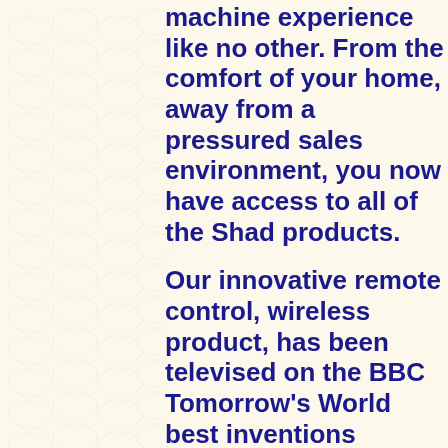[Figure (illustration): Decorative background with dotted oval/leaf shapes arranged vertically on the left side of the page, on a cream/off-white background.]
machine experience like no other. From the comfort of your home, away from a pressured sales environment, you now have access to all of the Shad products.
Our innovative remote control, wireless product, has been televised on the BBC Tomorrow's World best inventions program, as well as on BBC radio and in the Daily Mirror newspaper.